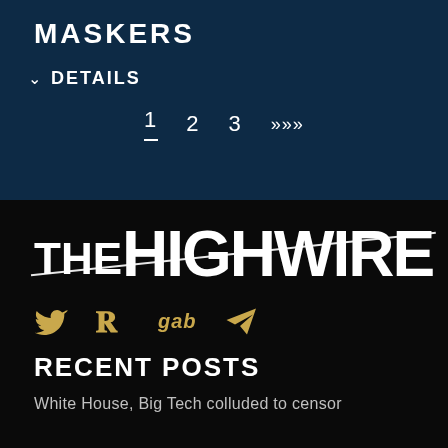MASKERS
DETAILS
1  2  3  >>>
[Figure (logo): THE HIGHWIRE logo in large bold white text with a diagonal strikethrough line on a black background]
[Figure (infographic): Social media icons: Twitter bird, Parler P, gab text, Telegram paper plane — all in gold/yellow color]
RECENT POSTS
White House, Big Tech colluded to censor